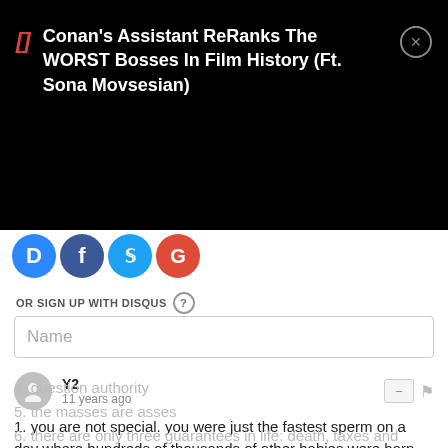Conan's Assistant ReRanks The WORST Bosses In Film History (Ft. Sona Movsesian)
[Figure (illustration): Social sharing icons: Disqus (blue D), Facebook (dark blue f), Twitter (light blue bird), Google+ (red G+)]
OR SIGN UP WITH DISQUS
Name
Y2
11 years ago
1. you are not special. you were just the fastest sperm on a day where hundreds of thousands of other babies were born.
2. things when heated, tend to become hot
3. money comes and money goes. it always has and it always will.
4. question authority
5. the masses are asses
6. there are only three guarantees in life: death, taxes and